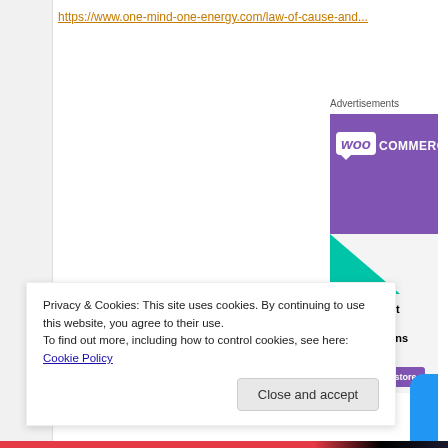https://www.one-mind-one-energy.com/law-of-cause-and...
Advertisements
[Figure (illustration): WooCommerce advertisement showing logo on purple banner, teal triangle shape, headline 'How to start selling subscriptions online', and 'Start a new store' button]
Privacy & Cookies: This site uses cookies. By continuing to use this website, you agree to their use.
To find out more, including how to control cookies, see here: Cookie Policy
Close and accept